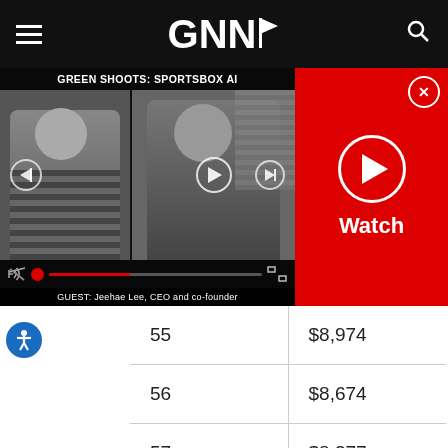[Figure (screenshot): GNN website navigation bar with hamburger menu, GNN logo with flag, and search icon on black background]
[Figure (screenshot): Video player showing 'GREEN SHOOTS: SPORTSBOX AI' with two video thumbnails (woman and man), playback controls, progress bar, and caption 'GUEST: Jeehae Lee, CEO and co-founder'. Red watch panel on right with X close button and play button.]
| 55 | $8,974 |
| 56 | $8,674 |
| 57 | $8,377 |
| 58 | $8,076 |